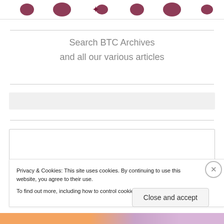[Figure (logo): BTC website logo strip with decorative dark red dots/ornaments across the top]
Search BTC Archives
and all our various articles
[Figure (other): Grey search input bar (empty)]
Search
Privacy & Cookies: This site uses cookies. By continuing to use this website, you agree to their use.
To find out more, including how to control cookies, see here: Cookie Policy
Close and accept